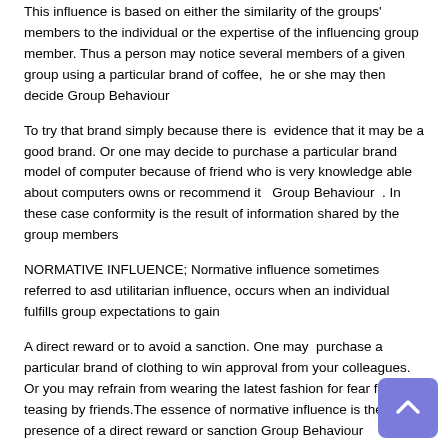This influence is based on either the similarity of the groups' members to the individual or the expertise of the influencing group member. Thus a person may notice several members of a given group using a particular brand of coffee, he or she may then decide Group Behaviour
To try that brand simply because there is evidence that it may be a good brand. Or one may decide to purchase a particular brand model of computer because of friend who is very knowledge able about computers owns or recommend it Group Behaviour . In these case conformity is the result of information shared by the group members
NORMATIVE INFLUENCE; Normative influence sometimes referred to asd utilitarian influence, occurs when an individual fulfills group expectations to gain
A direct reward or to avoid a sanction. One may purchase a particular brand of clothing to win approval from your colleagues. Or you may refrain from wearing the latest fashion for fear for teasing by friends.The essence of normative influence is the presence of a direct reward or sanction Group Behaviour